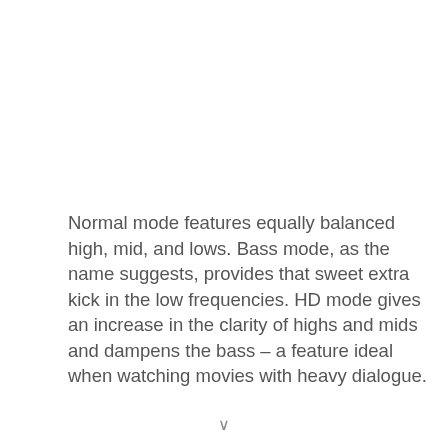Normal mode features equally balanced high, mid, and lows. Bass mode, as the name suggests, provides that sweet extra kick in the low frequencies. HD mode gives an increase in the clarity of highs and mids and dampens the bass – a feature ideal when watching movies with heavy dialogue.
The DOQAUS headphones are incredibly comfortable. They are pretty lightweight